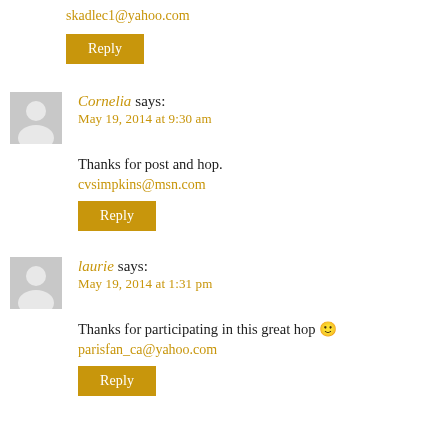skadlec1@yahoo.com
Reply
Cornelia says:
May 19, 2014 at 9:30 am
Thanks for post and hop.
cvsimpkins@msn.com
Reply
laurie says:
May 19, 2014 at 1:31 pm
Thanks for participating in this great hop 🙂
parisfan_ca@yahoo.com
Reply